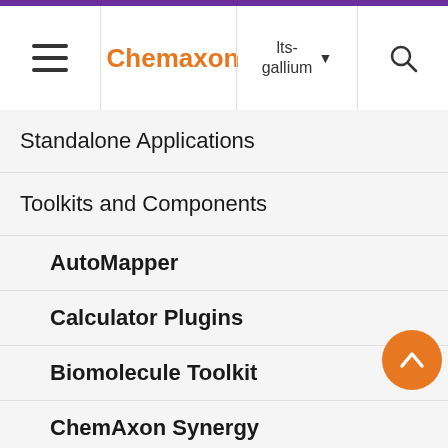Chemaxon | lts-gallium
Standalone Applications
Toolkits and Components
AutoMapper
Calculator Plugins
Biomolecule Toolkit
ChemAxon Synergy
Document to Structure
JChem Base
JChem Choral
typing a new atomic symbol
# Special Bond Types
# Draw a Positively Variable Bond